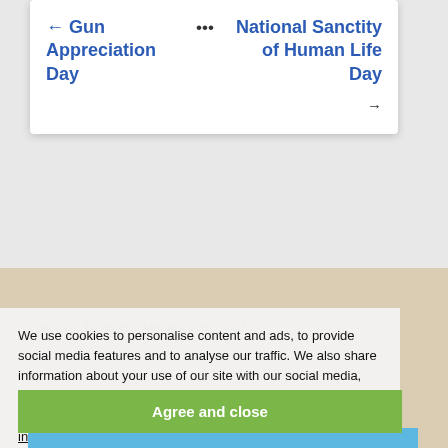← Gun Appreciation Day
•••
National Sanctity of Human Life Day →
Also on Thursday, January 19th, 2023
We use cookies to personalise content and ads, to provide social media features and to analyse our traffic. We also share information about your use of our site with our social media, advertising and analytics partners. If you continue to use this site we will assume that you are happy with it. More information.
Agree and close
World Quark Day